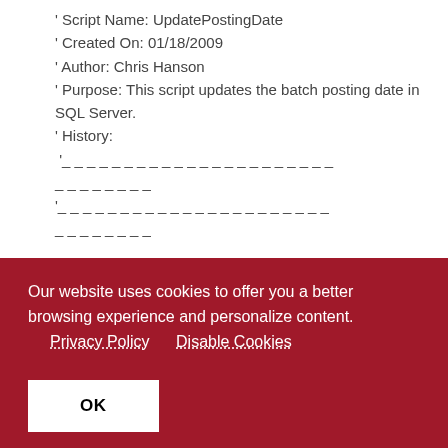' Script Name: UpdatePostingDate
' Created On: 01/18/2009
' Author: Chris Hanson
' Purpose: This script updates the batch posting date in SQL Server.
' History:
 '_ _ _ _ _ _ _ _ _ _ _ _ _ _ _ _ _ _ _ _ _ _ _ _ _ _ _ _ _
'_ _ _ _ _ _ _ _ _ _ _ _ _ _ _ _ _ _ _ _ _ _ _ _ _ _ _ _ _
 ' Requirements: This script should be located in the Tasks -> Map -> After -> Success
Our website uses cookies to offer you a better browsing experience and personalize content.
Privacy Policy   Disable Cookies
OK